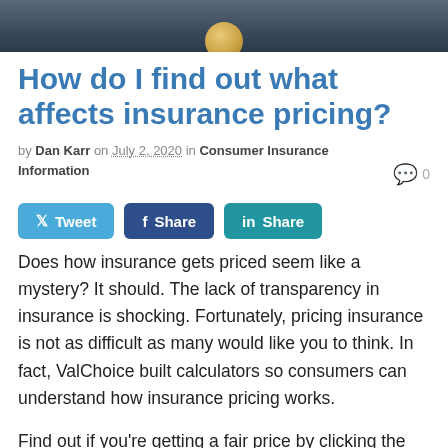[Figure (photo): Header image: dark background with a wooden ball/circle at center bottom]
How do I find out what affects insurance pricing?
by Dan Karr on July 2, 2020 in Consumer Insurance Information   0
[Figure (infographic): Social sharing buttons: Tweet, Share (Facebook), Share (LinkedIn)]
Does how insurance gets priced seem like a mystery? It should. The lack of transparency in insurance is shocking. Fortunately, pricing insurance is not as difficult as many would like you to think. In fact, ValChoice built calculators so consumers can understand how insurance pricing works.
Find out if you're getting a fair price by clicking the buttons below.